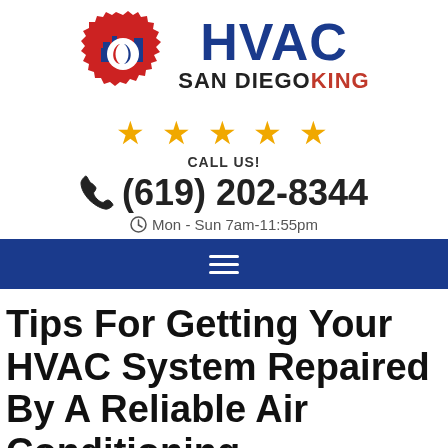[Figure (logo): HVAC San Diego King logo with gear icon and city skyline]
[Figure (infographic): Five golden star rating icons]
CALL US!
(619) 202-8344
Mon - Sun 7am-11:55pm
[Figure (infographic): Dark blue navigation bar with hamburger menu icon]
Tips For Getting Your HVAC System Repaired By A Reliable Air Conditioning